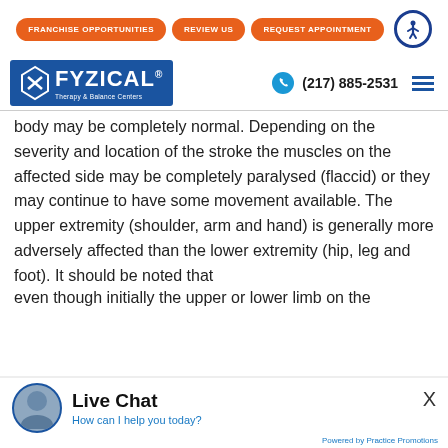FRANCHISE OPPORTUNITIES | REVIEW US | REQUEST APPOINTMENT
[Figure (logo): FYZICAL Therapy & Balance Centers logo with blue background and figure icon. Phone number (217) 885-2531 with hamburger menu.]
body may be completely normal. Depending on the severity and location of the stroke the muscles on the affected side may be completely paralysed (flaccid) or they may continue to have some movement available. The upper extremity (shoulder, arm and hand) is generally more adversely affected than the lower extremity (hip, leg and foot). It should be noted that even though initially the upper or lower limb on the
Live Chat
How can I help you today?
Powered by Practice Promotions